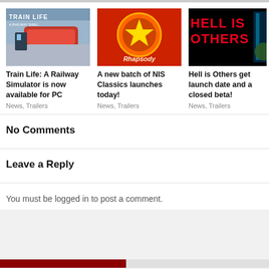[Figure (photo): Train Life: A Railway Simulator game cover/thumbnail showing a train conductor and red train]
Train Life: A Railway Simulator is now available for PC
News, Trailers
[Figure (photo): NIS Classics game cover/thumbnail - colorful anime style with circular emblem]
A new batch of NIS Classics launches today!
News, Trailers
[Figure (photo): Hell is Others game cover/thumbnail - dark neon style text on black background]
Hell is Others get launch date and a closed beta!
News, Trailers
No Comments
Leave a Reply
You must be logged in to post a comment.